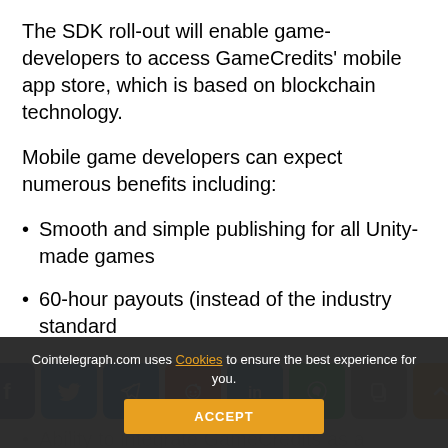The SDK roll-out will enable game-developers to access GameCredits' mobile app store, which is based on blockchain technology.
Mobile game developers can expect numerous benefits including:
Smooth and simple publishing for all Unity-made games
60-hour payouts (instead of the industry standard
Lower commission fees that give developers 90% of
Ability to integrate GameCredits as a payment method for in- ... anced fraud protection
[Figure (infographic): Social sharing bar with icons: Facebook (blue), Twitter (light blue), Telegram (blue), Reddit (orange), LinkedIn (blue), WhatsApp (green), Copy (grey), Scroll-up (yellow)]
Cointelegraph.com uses Cookies to ensure the best experience for you. ACCEPT